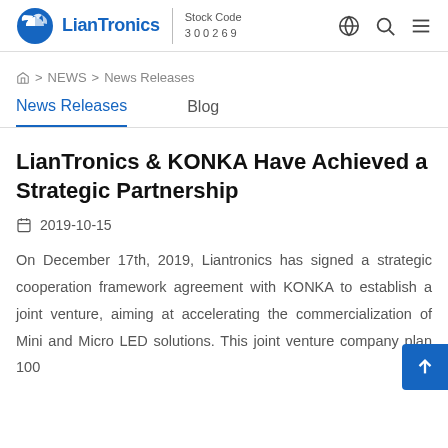LianTronics | Stock Code 300269
⌂ > NEWS > News Releases
News Releases   Blog
LianTronics & KONKA Have Achieved a Strategic Partnership
2019-10-15
On December 17th, 2019, Liantronics has signed a strategic cooperation framework agreement with KONKA to establish a joint venture, aiming at accelerating the commercialization of Mini and Micro LED solutions. This joint venture company plan 100